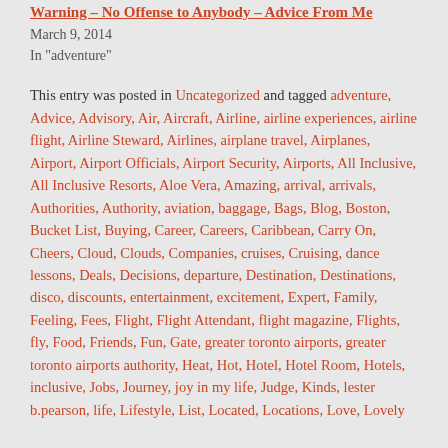Warning – No Offense to Anybody – Advice From Me
March 9, 2014
In "adventure"
This entry was posted in Uncategorized and tagged adventure, Advice, Advisory, Air, Aircraft, Airline, airline experiences, airline flight, Airline Steward, Airlines, airplane travel, Airplanes, Airport, Airport Officials, Airport Security, Airports, All Inclusive, All Inclusive Resorts, Aloe Vera, Amazing, arrival, arrivals, Authorities, Authority, aviation, baggage, Bags, Blog, Boston, Bucket List, Buying, Career, Careers, Caribbean, Carry On, Cheers, Cloud, Clouds, Companies, cruises, Cruising, dance lessons, Deals, Decisions, departure, Destination, Destinations, disco, discounts, entertainment, excitement, Expert, Family, Feeling, Fees, Flight, Flight Attendant, flight magazine, Flights, fly, Food, Friends, Fun, Gate, greater toronto airports, greater toronto airports authority, Heat, Hot, Hotel, Hotel Room, Hotels, inclusive, Jobs, Journey, joy in my life, Judge, Kinds, lester b.pearson, life, Lifestyle, List, Located, Locations, Love, Lovely